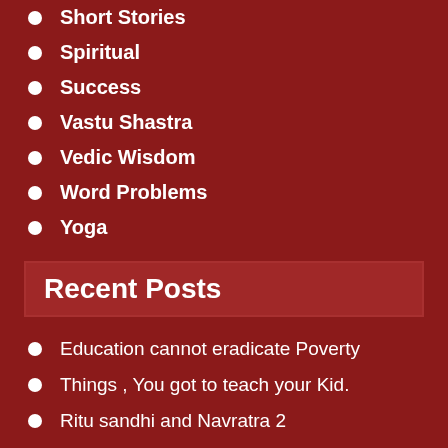Short Stories
Spiritual
Success
Vastu Shastra
Vedic Wisdom
Word Problems
Yoga
Recent Posts
Education cannot eradicate Poverty
Things , You got to teach your Kid.
Ritu sandhi and Navratra 2
,
Profession and Career related to Planet Mars